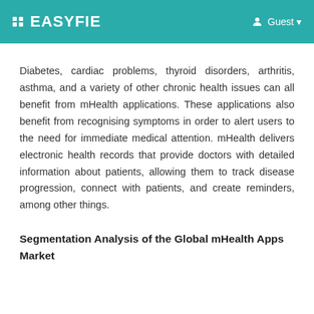EASYFIE   Guest
Diabetes, cardiac problems, thyroid disorders, arthritis, asthma, and a variety of other chronic health issues can all benefit from mHealth applications. These applications also benefit from recognising symptoms in order to alert users to the need for immediate medical attention. mHealth delivers electronic health records that provide doctors with detailed information about patients, allowing them to track disease progression, connect with patients, and create reminders, among other things.
Segmentation Analysis of the Global mHealth Apps Market